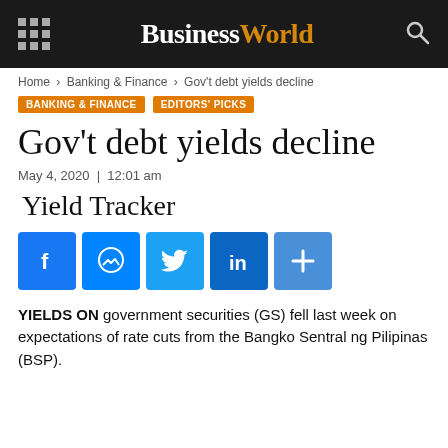BusinessWorld
Home › Banking & Finance › Gov't debt yields decline
BANKING & FINANCE   EDITORS' PICKS
Gov't debt yields decline
May 4, 2020  |  12:01 am
Yield Tracker
[Figure (other): Social media sharing icons: Facebook, Messenger, Twitter, LinkedIn, More]
YIELDS ON government securities (GS) fell last week on expectations of rate cuts from the Bangko Sentral ng Pilipinas (BSP).